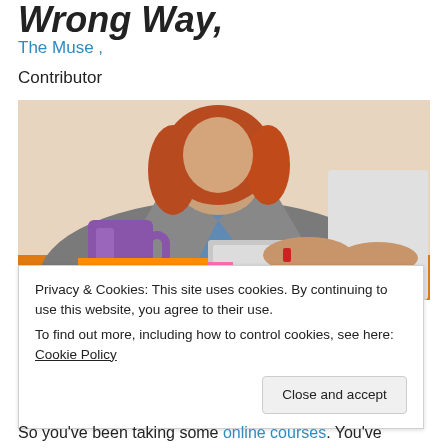Wrong Way,
The Muse ,
Contributor
[Figure (photo): Woman with red hair wearing a grey blazer typing on a laptop at a desk, with a purple coffee mug and colorful sticky notes in the foreground]
Privacy & Cookies: This site uses cookies. By continuing to use this website, you agree to their use.
To find out more, including how to control cookies, see here: Cookie Policy
So you've been taking some online courses. You've